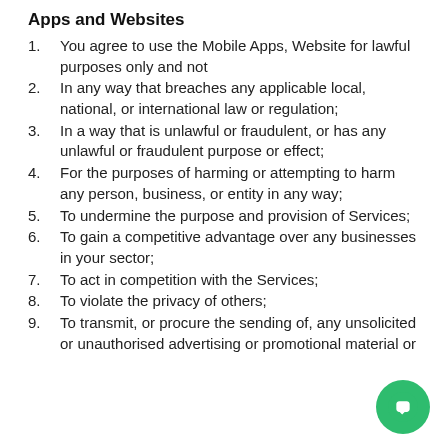Apps and Websites
1.    You agree to use the Mobile Apps, Website for lawful purposes only and not
2.    In any way that breaches any applicable local, national, or international law or regulation;
3.    In a way that is unlawful or fraudulent, or has any unlawful or fraudulent purpose or effect;
4.    For the purposes of harming or attempting to harm any person, business, or entity in any way;
5.    To undermine the purpose and provision of Services;
6.    To gain a competitive advantage over any businesses in your sector;
7.    To act in competition with the Services;
8.    To violate the privacy of others;
9.    To transmit, or procure the sending of, any unsolicited or unauthorised advertising or promotional material or